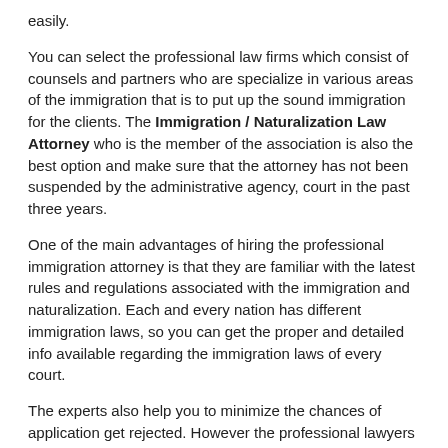easily.
You can select the professional law firms which consist of counsels and partners who are specialize in various areas of the immigration that is to put up the sound immigration for the clients. The Immigration / Naturalization Law Attorney who is the member of the association is also the best option and make sure that the attorney has not been suspended by the administrative agency, court in the past three years.
One of the main advantages of hiring the professional immigration attorney is that they are familiar with the latest rules and regulations associated with the immigration and naturalization. Each and every nation has different immigration laws, so you can get the proper and detailed info available regarding the immigration laws of every court.
The experts also help you to minimize the chances of application get rejected. However the professional lawyers will understand each and every case on its merits. The best Immigration / Naturalization Law Attorney also guides you to file your application yourself. It is highly advisable that work with professionals and reputed law firms.